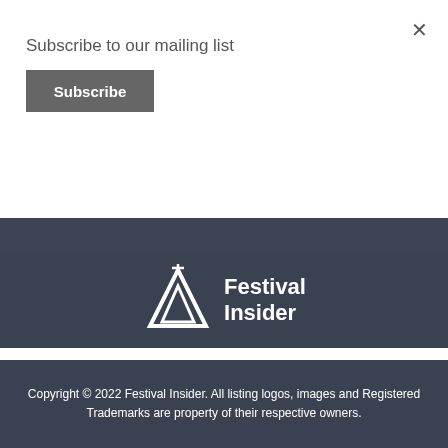×
Subscribe to our mailing list
Subscribe
email address
Subscribe
[Figure (logo): Festival Insider logo: teepee/tent outline icon in white with text 'Festival Insider' in bold white on dark background]
Copyright © 2022 Festival Insider. All listing logos, images and Registered Trademarks are property of their respective owners.